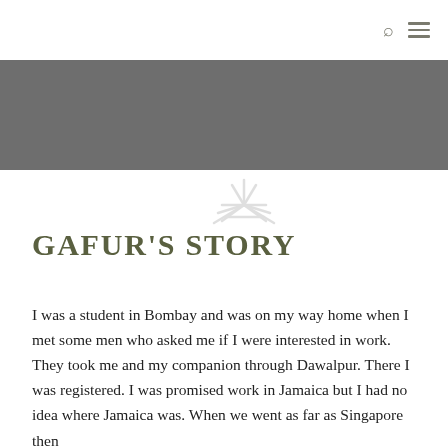GAFUR'S STORY
I was a student in Bombay and was on my way home when I met some men who asked me if I were interested in work. They took me and my companion through Dawalpur. There I was registered. I was promised work in Jamaica but I had no idea where Jamaica was. When we went as far as Singapore then